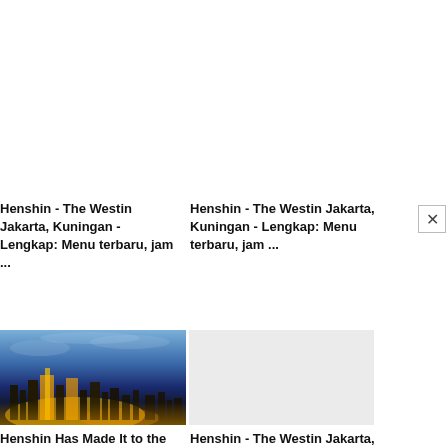Henshin - The Westin Jakarta, Kuningan - Lengkap: Menu terbaru, jam ...
Henshin - The Westin Jakarta, Kuningan - Lengkap: Menu terbaru, jam ...
[Figure (photo): Aerial twilight photo of Jakarta city skyline with illuminated skyscrapers and dramatic blue sky]
[Figure (photo): Blank/placeholder image, light gray background]
Henshin Has Made It to the Top 52 Restaurants & Bars by Marriott Bonvoy ...
Henshin - The Westin Jakarta, Kuningan - Lengkap: Menu terbaru, jam ...